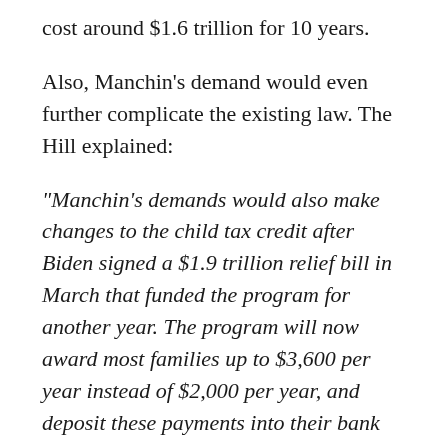cost around $1.6 trillion for 10 years.
Also, Manchin’s demand would even further complicate the existing law. The Hill explained:
“Manchin’s demands would also make changes to the child tax credit after Biden signed a $1.9 trillion relief bill in March that funded the program for another year. The program will now award most families up to $3,600 per year instead of $2,000 per year, and deposit these payments into their bank accounts.”